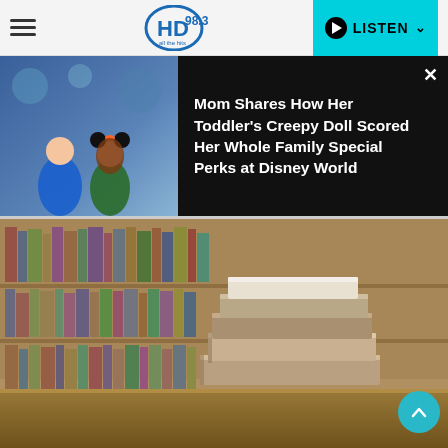HD 98.3 - LISTEN
[Figure (photo): Black overlay banner showing a little girl dressed as Minnie Mouse holding a doll, with text: Mom Shares How Her Toddler's Creepy Doll Scored Her Whole Family Special Perks at Disney World]
Mom Shares How Her Toddler's Creepy Doll Scored Her Whole Family Special Perks at Disney World
[Figure (photo): Stack of books on a wooden table with blurred bookshelf background in a library]